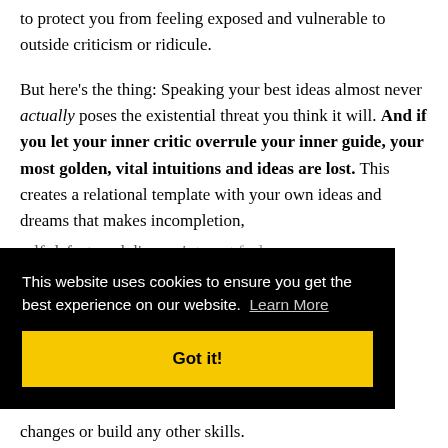to protect you from feeling exposed and vulnerable to outside criticism or ridicule.
But here’s the thing: Speaking your best ideas almost never actually poses the existential threat you think it will. And if you let your inner critic overrule your inner guide, your most golden, vital intuitions and ideas are lost. This creates a relational template with your own ideas and dreams that makes incompletion, self-defeat, and disappointment feel expected and...
This website uses cookies to ensure you get the best experience on our website. Learn More
Got it!
changes or build any other skills.